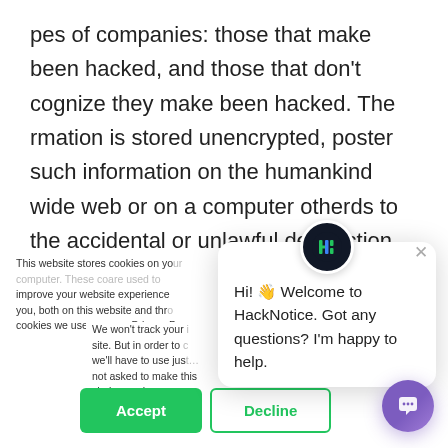pes of companies: those that make been hacked, and those that don't cognize they make been hacked. The rmation is stored unencrypted, poster such information on the humankind wide web or on a computer otherds to the accidental or unlawful destruction, loss, alteration, unauthorized revelation of, or acces
This website stores cookies on your computer. These cookies are used to improve your website experience you, both on this website and through cookies we use, see our Privacy P
We won't track your site. But in order to we'll have to use jus not asked to make this choice again.
Hi! 👋 Welcome to HackNotice. Got any questions? I'm happy to help.
Accept
Decline